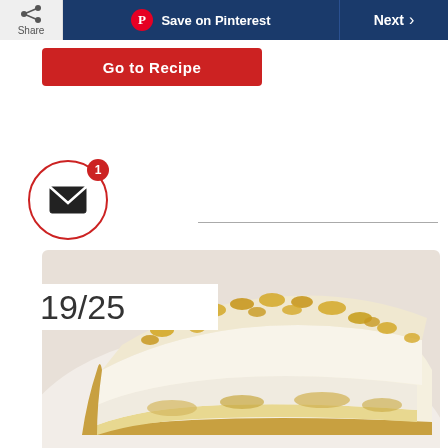[Figure (screenshot): Web page screenshot showing share button, Pinterest Save button, Next button navigation bar at top]
[Figure (photo): Close-up photo of a slice of cheesecake with graham cracker crust and crumble topping on a white plate, with another slice visible in background]